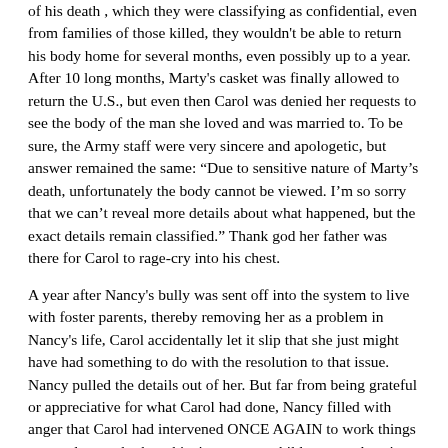of his death , which they were classifying as confidential, even from families of those killed, they wouldn't be able to return his body home for several months, even possibly up to a year. After 10 long months, Marty's casket was finally allowed to return the U.S., but even then Carol was denied her requests to see the body of the man she loved and was married to. To be sure, the Army staff were very sincere and apologetic, but answer remained the same: “Due to sensitive nature of Marty’s death, unfortunately the body cannot be viewed. I’m so sorry that we can’t reveal more details about what happened, but the exact details remain classified.” Thank god her father was there for Carol to rage-cry into his chest.
A year after Nancy's bully was sent off into the system to live with foster parents, thereby removing her as a problem in Nancy's life, Carol accidentally let it slip that she just might have had something to do with the resolution to that issue. Nancy pulled the details out of her. But far from being grateful or appreciative for what Carol had done, Nancy filled with anger that Carol had intervened ONCE AGAIN to work things out, and not only that, this time, young children were hurt in the process. The situation brought out years of resentment that Nancy had been harboring that Carol was always manipulating things, always working things out, always fixing things, and never letting Nancy deal with things on her own. It led to a huge fight, where Carol called Nancy ungrateful, and Nancy stormed out of the room vowing not to talk to Carol anymore. It was the beginning of a really rough patch for the two sisters, where the two hardly saw each other at all, and Nancy started hanging out with a rougher crowd. Nancy eventually got